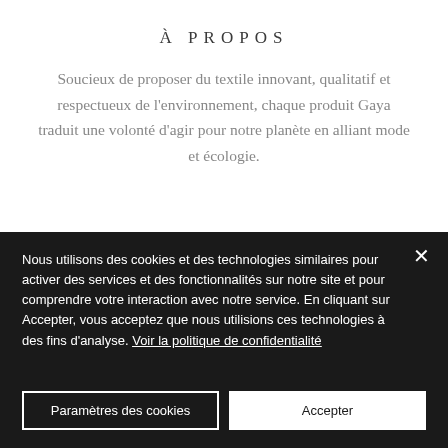À PROPOS
Soucieux de proposer du textile innovant, qualitatif et respectueux de l'environnement, chaque produit Gaya traduit une volonté d'agir pour notre planète en alliant mode et écologie.
Nous utilisons des cookies et des technologies similaires pour activer des services et des fonctionnalités sur notre site et pour comprendre votre interaction avec notre service. En cliquant sur Accepter, vous acceptez que nous utilisions ces technologies à des fins d'analyse. Voir la politique de confidentialité
Paramètres des cookies
Accepter